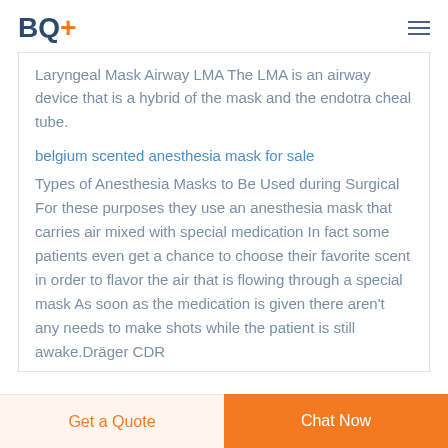BQ+
Laryngeal Mask Airway LMA The LMA is an airway device that is a hybrid of the mask and the endotracheal tube.
belgium scented anesthesia mask for sale
Types of Anesthesia Masks to Be Used during Surgical For these purposes they use an anesthesia mask that carries air mixed with special medication In fact some patients even get a chance to choose their favorite scent in order to flavor the air that is flowing through a special mask As soon as the medication is given there aren't any needs to make shots while the patient is still awake.Dräger CDR
Get a Quote  Chat Now